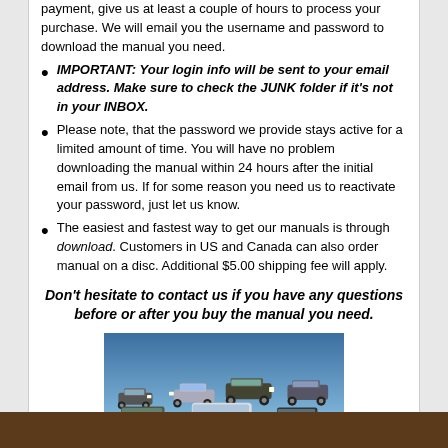payment, give us at least a couple of hours to process your purchase. We will email you the username and password to download the manual you need.
IMPORTANT: Your login info will be sent to your email address. Make sure to check the JUNK folder if it's not in your INBOX.
Please note, that the password we provide stays active for a limited amount of time. You will have no problem downloading the manual within 24 hours after the initial email from us. If for some reason you need us to reactivate your password, just let us know.
The easiest and fastest way to get our manuals is through download. Customers in US and Canada can also order manual on a disc. Additional $5.00 shipping fee will apply.
Don't hesitate to contact us if you have any questions before or after you buy the manual you need.
[Figure (photo): Group of various car models arranged on a flat surface, promotional automotive photo]
43652